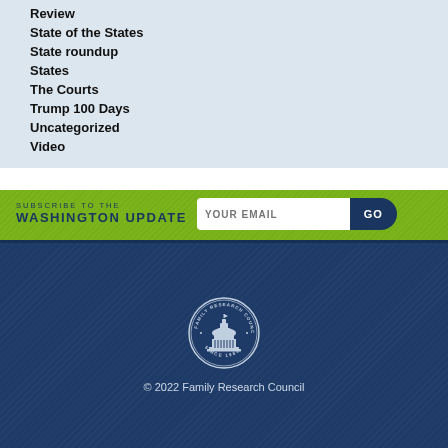Review
State of the States
State roundup
States
The Courts
Trump 100 Days
Uncategorized
Video
SUBSCRIBE TO THE WASHINGTON UPDATE
[Figure (logo): Family Research Council seal/logo — circular emblem with dome building, text 'FAMILY RESEARCH COUNCIL' and 'SINCE 1983']
© 2022 Family Research Council